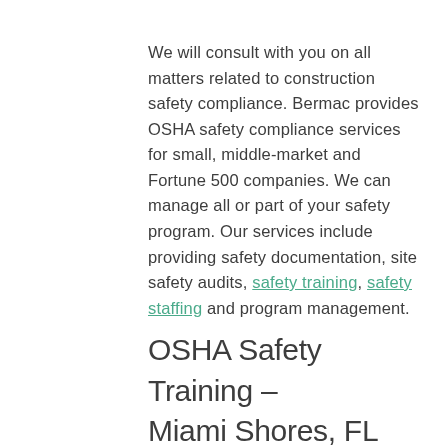We will consult with you on all matters related to construction safety compliance. Bermac provides OSHA safety compliance services for small, middle-market and Fortune 500 companies. We can manage all or part of your safety program. Our services include providing safety documentation, site safety audits, safety training, safety staffing and program management.
OSHA Safety Training – Miami Shores, FL